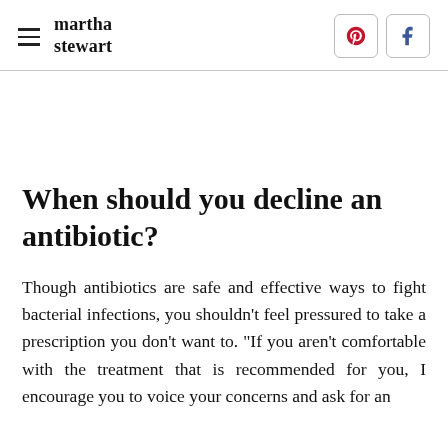martha stewart
When should you decline an antibiotic?
Though antibiotics are safe and effective ways to fight bacterial infections, you shouldn't feel pressured to take a prescription you don't want to. "If you aren't comfortable with the treatment that is recommended for you, I encourage you to voice your concerns and ask for an